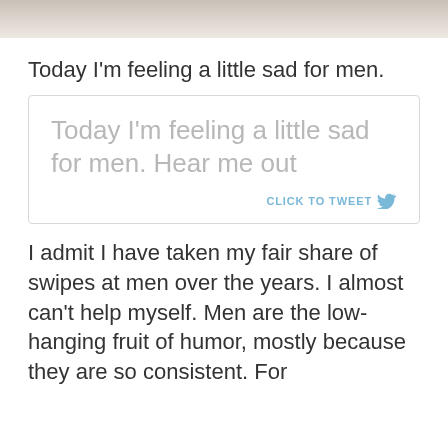[Figure (photo): Partial photo strip at top of page showing blurred background scene]
Today I'm feeling a little sad for men.
Today I'm feeling a little sad for men. Hear me out — CLICK TO TWEET
I admit I have taken my fair share of swipes at men over the years. I almost can't help myself. Men are the low-hanging fruit of humor, mostly because they are so consistent. For